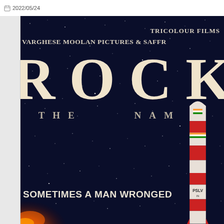2022/05/24
[Figure (photo): Movie poster for 'ROCKET: The Nambi Effect' (partially cropped). Dark navy starfield background with large cream/off-white bold serif text reading 'ROCK' (full word ROCKET cropped). Below that 'THE NAM B' (THE NAMBI cropped). Production credits at top: 'TRICOLOUR FILMS' and 'VARGHESE MOOLAN PICTURES & SAFFR' (cropped). Tagline at bottom left: 'SOMETIMES A MAN WRONGED'. A red-and-white PSLV rocket is visible on the right side. Orange flame/glow visible at bottom left.]